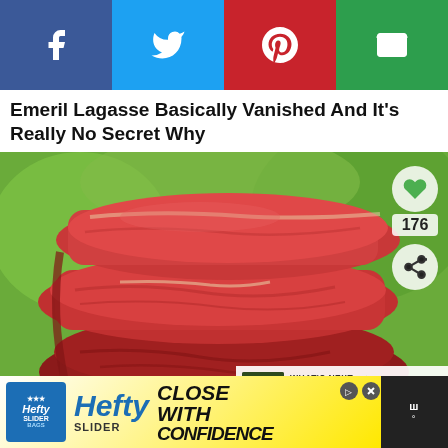[Figure (infographic): Social sharing bar with four buttons: Facebook (blue), Twitter (cyan), Pinterest (red), Email (green), each with white icon]
Emeril Lagasse Basically Vanished And It's Really No Secret Why
[Figure (photo): Close-up photo of stacked raw red beef/steak cuts against a green background. Overlaid UI elements: heart/like button showing 176 count, share button, and a 'WHAT'S NEXT' banner showing 'Asian Steak Skewers wit...']
Ever Wonder Why Aldi's Meat Is So Suspiciously
[Figure (infographic): Advertisement banner for Hefty Slider bags: 'CLOSE WITH CONFIDENCE' slogan on yellow/white background with Hefty branding, with dismiss and ad-choice buttons on right side]